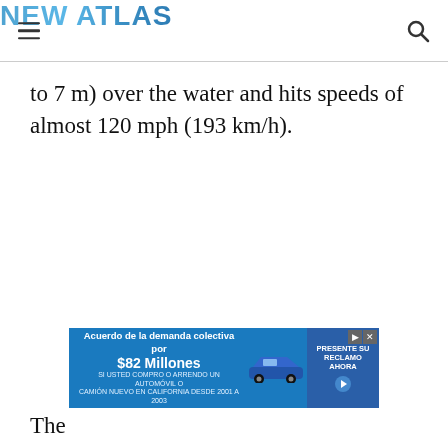NEW ATLAS
to 7 m) over the water and hits speeds of almost 120 mph (193 km/h).
[Figure (other): Advertisement banner: Acuerdo de la demanda colectiva por $82 Millones. SI USTED COMPRO O ARRENDO UN AUTOMÓVIL O CAMIÓN NUEVO EN CALIFORNIA DESDE 2001 A 2003. PRESENTE SU RECLAMO AHORA.]
The w… t this